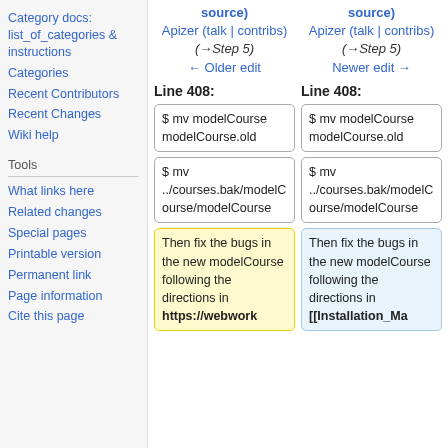Category docs: list_of_categories & instructions
Categories
Recent Contributors
Recent Changes
Wiki help
Tools
What links here
Related changes
Special pages
Printable version
Permanent link
Page information
Cite this page
source)
Apizer (talk | contribs)
(→Step 5)
← Older edit
source)
Apizer (talk | contribs)
(→Step 5)
Newer edit →
Line 408:
Line 408:
$ mv modelCourse modelCourse.old
$ mv modelCourse modelCourse.old
$ mv ../courses.bak/modelCourse/modelCourse
$ mv ../courses.bak/modelCourse/modelCourse
Then fix the bugs in the new modelCourse following the directions in https://webwork
Then fix the bugs in the new modelCourse following the directions in [[Installation_Ma